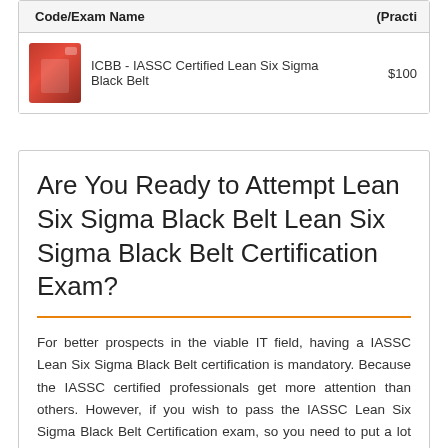| Code/Exam Name | (Practi |
| --- | --- |
| ICBB - IASSC Certified Lean Six Sigma Black Belt | $100 |
Are You Ready to Attempt Lean Six Sigma Black Belt Lean Six Sigma Black Belt Certification Exam?
For better prospects in the viable IT field, having a IASSC Lean Six Sigma Black Belt certification is mandatory. Because the IASSC certified professionals get more attention than others. However, if you wish to pass the IASSC Lean Six Sigma Black Belt Certification exam, so you need to put a lot of effort into preparation. It can make a huge difference to the way you start your career. It can make a huge difference to the way you kick off your career. There